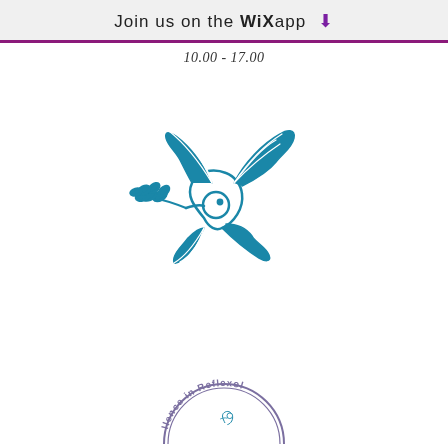Join us on the WiX app ⬇
10.00 - 17.00
[Figure (illustration): Teal/blue outline illustration of a dove in flight carrying an olive branch in its beak]
[Figure (logo): Circular badge/stamp partially visible at bottom reading 'excellence in Reflexol...' with a small bird logo in the center]